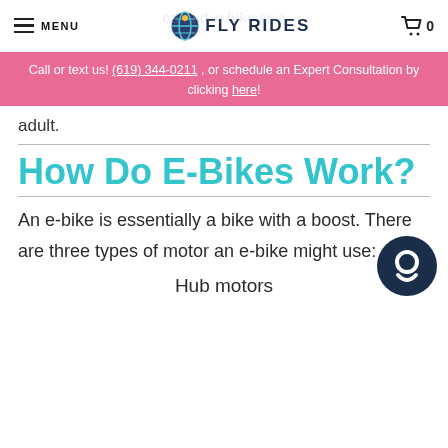MENU  FLY RIDES  0
Call or text us! (619) 344-0211 , or schedule an Expert Consultation by clicking here!
adult.
How Do E-Bikes Work?
An e-bike is essentially a bike with a boost. There are three types of motor an e-bike might use:
Hub motors